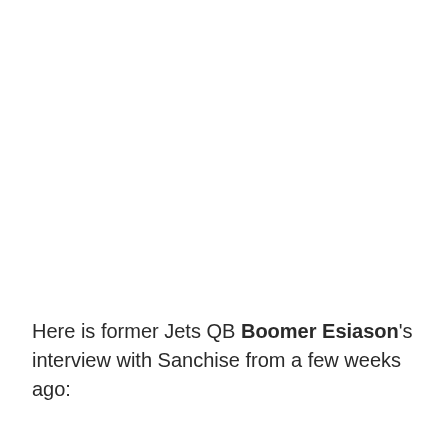Here is former Jets QB Boomer Esiason's interview with Sanchise from a few weeks ago: